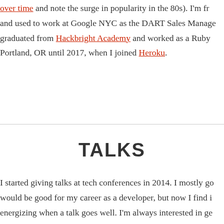over time and note the surge in popularity in the 80s). I'm fr and used to work at Google NYC as the DART Sales Manage graduated from Hackbright Academy and worked as a Ruby Portland, OR until 2017, when I joined Heroku.
TALKS
I started giving talks at tech conferences in 2014. I mostly go would be good for my career as a developer, but now I find i energizing when a talk goes well. I'm always interested in ge blog about public speaking resources and tips. I use Speake